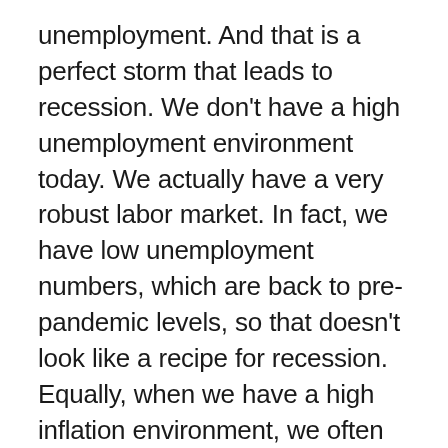unemployment. And that is a perfect storm that leads to recession. We don't have a high unemployment environment today. We actually have a very robust labor market. In fact, we have low unemployment numbers, which are back to pre-pandemic levels, so that doesn't look like a recipe for recession. Equally, when we have a high inflation environment, we often have a weaker dollar, and we have the opposite now — we have a dollar at two-year highs. So what's that telling us? Perhaps that, yes, the dollar should be under pressure because of the inflationary environment, but our central bank is taking measures that other central banks are not, and perhaps it's only looking strong because every other currency worldwide is looking quite weak. So, we have